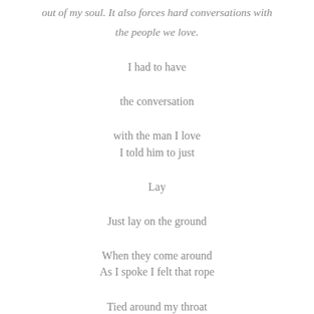out of my soul. It also forces hard conversations with the people we love.
I had to have
the conversation
with the man I love
I told him to just
Lay
Just lay on the ground
When they come around
As I spoke I felt that rope
Tied around my throat
And it hurt.